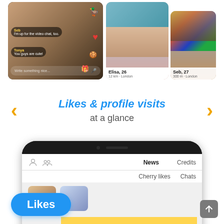[Figure (screenshot): Two mobile app screenshots side by side. Left: a live video chat screen with user chat bubbles from 'Seb' and 'Tonya', heart and emoji reactions, and a compose bar. Right: two profile cards showing 'Elisa, 26 - 12 km · London' and 'Seb, 27 - 300 m · London'.]
Likes & profile visits at a glance
[Figure (screenshot): Bottom portion of a smartphone showing the app screen with navigation tabs: person icon, connections icon, News (bold), Credits, Cherry likes, Chats. A blue rounded pill button labeled 'Likes' overlays the bottom left. A gray scroll-to-top button is at bottom right.]